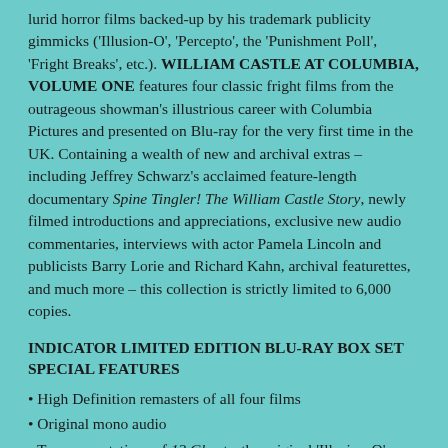lurid horror films backed-up by his trademark publicity gimmicks ('Illusion-O', 'Percepto', the 'Punishment Poll', 'Fright Breaks', etc.). WILLIAM CASTLE AT COLUMBIA, VOLUME ONE features four classic fright films from the outrageous showman's illustrious career with Columbia Pictures and presented on Blu-ray for the very first time in the UK. Containing a wealth of new and archival extras – including Jeffrey Schwarz's acclaimed feature-length documentary Spine Tingler! The William Castle Story, newly filmed introductions and appreciations, exclusive new audio commentaries, interviews with actor Pamela Lincoln and publicists Barry Lorie and Richard Kahn, archival featurettes, and much more – this collection is strictly limited to 6,000 copies.
INDICATOR LIMITED EDITION BLU-RAY BOX SET SPECIAL FEATURES
• High Definition remasters of all four films
• Original mono audio
• Two presentations of 13 Ghosts: the original 'Illusion-O' presentation and the alternative black-and-white version
• The Tingler audio commentary by Jonathan Rigby, author